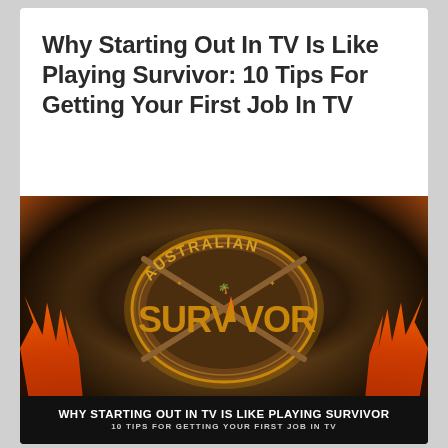Why Starting Out In TV Is Like Playing Survivor: 10 Tips For Getting Your First Job In TV
[Figure (photo): Australian Survivor logo/emblem on a dark fiery background with flames at the bottom. Bottom banner reads 'WHY STARTING OUT IN TV IS LIKE PLAYING SURVIVOR' and '10 TIPS FOR GETTING YOUR FIRST JOB IN TV'.]